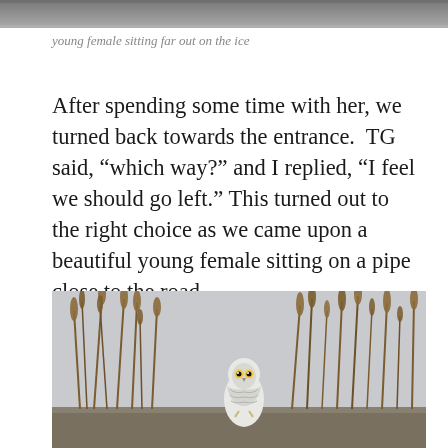[Figure (photo): Top strip of a photo showing a snowy/grey outdoor scene, cropped to just a thin band at the top of the page.]
young female sitting far out on the ice
After spending some time with her, we turned back towards the entrance.  TG said, “which way?” and I replied, “I feel we should go left.” This turned out to the right choice as we came upon a beautiful young female sitting on a pipe close to the road.
[Figure (photo): Photo of a snowy owl perched on a pipe near a road, surrounded by tall brown reeds/grasses against a grey overcast sky.]